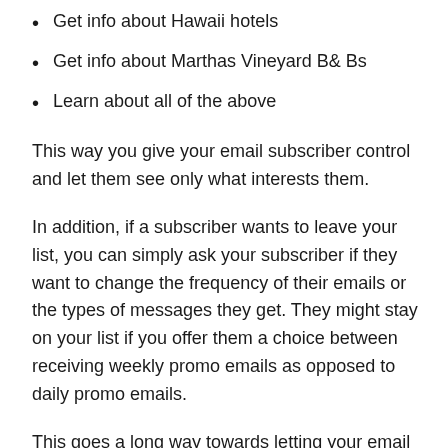Get info about Hawaii hotels
Get info about Marthas Vineyard B& Bs
Learn about all of the above
This way you give your email subscriber control and let them see only what interests them.
In addition, if a subscriber wants to leave your list, you can simply ask your subscriber if they want to change the frequency of their emails or the types of messages they get. They might stay on your list if you offer them a choice between receiving weekly promo emails as opposed to daily promo emails.
This goes a long way towards letting your email subscriber know you value them as well as their time.